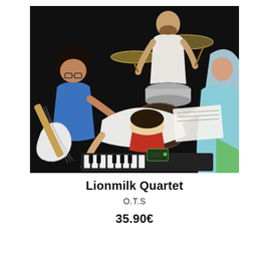[Figure (illustration): Painted/illustrated image of a music band (Lionmilk Quartet) performing. Four musicians visible: one playing electric guitar (left, wearing blue), one on drums (back center, white t-shirt), one leaning over a keyboard/synthesizer (front center, white shirt), and one on the right wearing a light blue/teal outfit. Dark background, vivid colors in an artistic painted style.]
Lionmilk Quartet
O.T.S
35.90€